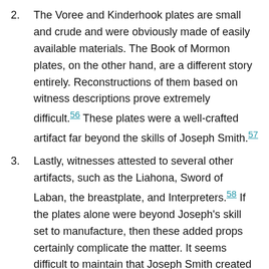The Voree and Kinderhook plates are small and crude and were obviously made of easily available materials. The Book of Mormon plates, on the other hand, are a different story entirely. Reconstructions of them based on witness descriptions prove extremely difficult.56 These plates were a well-crafted artifact far beyond the skills of Joseph Smith.57
Lastly, witnesses attested to several other artifacts, such as the Liahona, Sword of Laban, the breastplate, and Interpreters.58 If the plates alone were beyond Joseph's skill set to manufacture, then these added props certainly complicate the matter. It seems difficult to maintain that Joseph Smith created